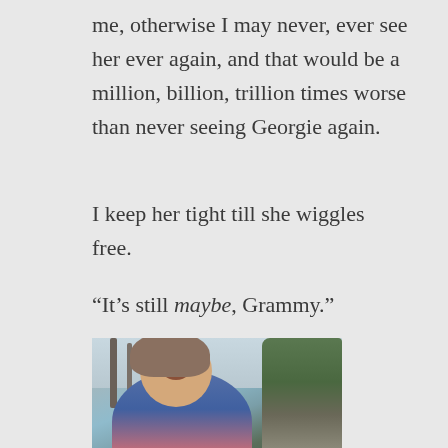me, otherwise I may never, ever see her ever again, and that would be a million, billion, trillion times worse than never seeing Georgie again.
I keep her tight till she wiggles free.
“It’s still maybe, Grammy.”
[Figure (photo): A young girl with blonde hair wearing a blue hoodie, smiling broadly outdoors near trees and a moss-covered rock formation.]